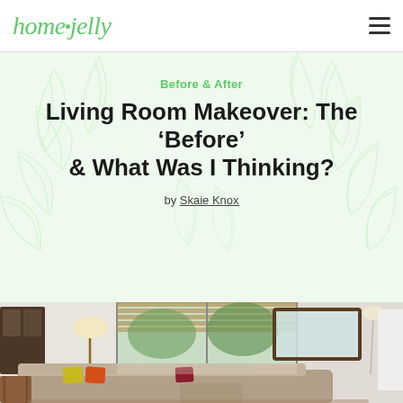homejelly
Before & After
Living Room Makeover: The 'Before' & What Was I Thinking?
by Skaie Knox
[Figure (photo): Before photo of a living room with a large beige/taupe sectional sofa with colorful pillows (yellow, orange, red), wooden side table, lamp, large window with bamboo blinds, a mirror on the far wall, and a floor lamp in the corner.]